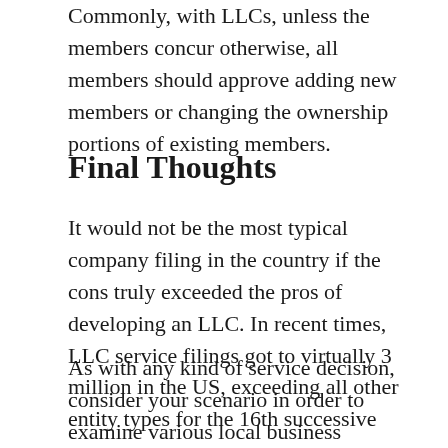Commonly, with LLCs, unless the members concur otherwise, all members should approve adding new members or changing the ownership portions of existing members.
Final Thoughts
It would not be the most typical company filing in the country if the cons truly exceeded the pros of developing an LLC. In recent times, LLC service filings got to virtually 3 million in the US, exceeding all other entity types for the 16th successive year.
As with any kind of service decision, consider your scenario in order to examine various local business structures. Examine your enterprise risks, documents, responsibility, member